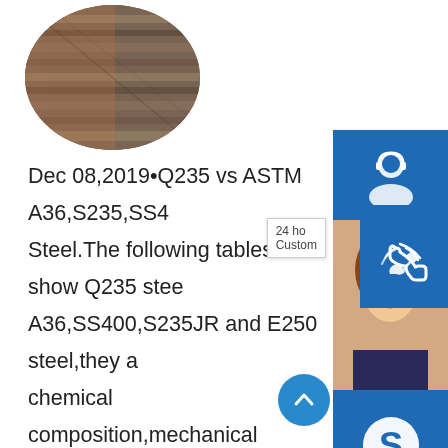[Figure (photo): Circular cropped photo of steel plates stacked in a warehouse or storage area, showing rust-colored and grey metal sheets.]
[Figure (infographic): Right-side widget panel with: 1) Blue customer support icon with headset, 2) Photo of woman (call center agent) with blue phone icon, 3) Blue Skype icon widget with 'Chat Now' button in red, 4) '24 ho... Custom...' white popup label, 5) Blue scroll-to-top button at bottom right.]
Dec 08,2019•Q235 vs ASTM A36,S235,SS400 Steel.The following tables show Q235 steel A36,SS400,S235JR and E250 steel,they a chemical composition,mechanical properties belong to carbon structural steels.A283 c a36sp.infoS235JR steel is a type of steel s EN standard which is used to build ship,bridge.A36 steel is carbon steel plate.S235JR is equivalent to DIN:St37-2,etc.If you need S235JR steel,ss400 ASTM A36 steel,please contact us.ASTM A283 VS A36 steel